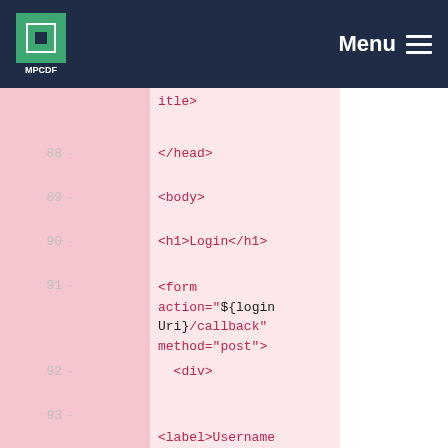MPCDF — Menu
88 - </head>
89 - <body>
90 - <h1>Login</h1>
91 - <form action="${loginUri}/callback" method="post">
92 - <div>
93 - <label>Username:</label>
94 - <input